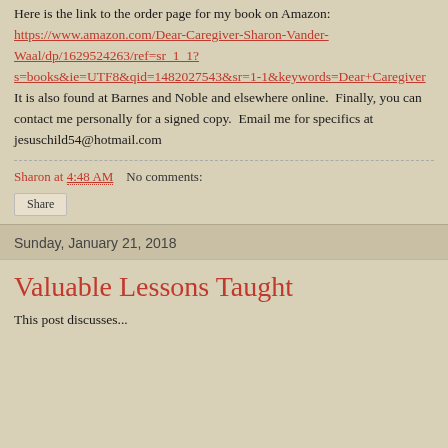Here is the link to the order page for my book on Amazon: https://www.amazon.com/Dear-Caregiver-Sharon-Vander-Waal/dp/1629524263/ref=sr_1_1?s=books&ie=UTF8&qid=1482027543&sr=1-1&keywords=Dear+Caregiver  It is also found at Barnes and Noble and elsewhere online.  Finally, you can contact me personally for a signed copy.  Email me for specifics at jesuschild54@hotmail.com
Sharon at 4:48 AM    No comments:
Share
Sunday, January 21, 2018
Valuable Lessons Taught
This post discusses...